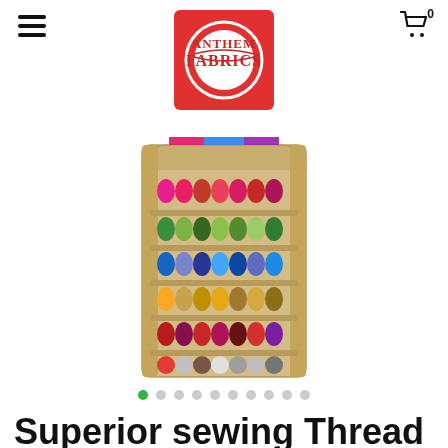≡  0
[Figure (logo): Anthem Fabrics logo — red square background with white circular banner and decorative text reading ANTHEM FABRICS]
[Figure (photo): A wooden thread organizer/display rack filled with multiple rows of colorful sewing thread spools in pink, magenta, green, blue, gold, red, and multicolor shades.]
Superior sewing Thread